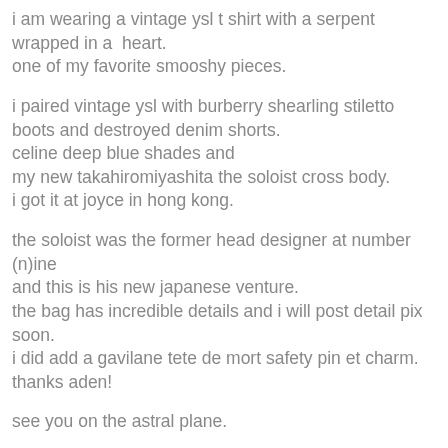i am wearing a vintage ysl t shirt with a serpent wrapped in a  heart.
one of my favorite smooshy pieces.
i paired vintage ysl with burberry shearling stiletto boots and destroyed denim shorts.
celine deep blue shades and
my new takahiromiyashita the soloist cross body.
i got it at joyce in hong kong.
the soloist was the former head designer at number (n)ine
and this is his new japanese venture.
the bag has incredible details and i will post detail pix soon.
i did add a gavilane tete de mort safety pin et charm.
thanks aden!
see you on the astral plane.